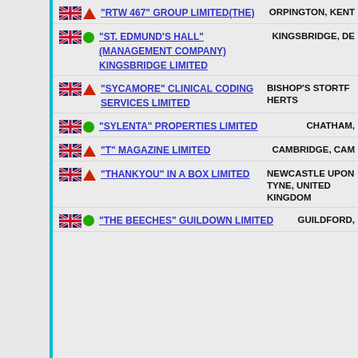"RTW 467" GROUP LIMITED(THE) — ORPINGTON, KENT
"ST. EDMUND'S HALL" (MANAGEMENT COMPANY) KINGSBRIDGE LIMITED — KINGSBRIDGE, DE
"SYCAMORE" CLINICAL CODING SERVICES LIMITED — BISHOP'S STORTF HERTS
"SYLENTA" PROPERTIES LIMITED — CHATHAM,
"T" MAGAZINE LIMITED — CAMBRIDGE, CAM
"THANKYOU" IN A BOX LIMITED — NEWCASTLE UPON TYNE, UNITED KINGDOM
"THE BEECHES" GUILDOWN LIMITED — GUILDFORD,